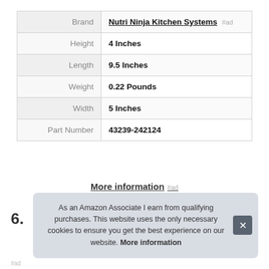|  |  |
| --- | --- |
| Brand | Nutri Ninja Kitchen Systems #ad |
| Height | 4 Inches |
| Length | 9.5 Inches |
| Weight | 0.22 Pounds |
| Width | 5 Inches |
| Part Number | 43239-242124 |
More information #ad
6.
As an Amazon Associate I earn from qualifying purchases. This website uses the only necessary cookies to ensure you get the best experience on our website. More information
#ad